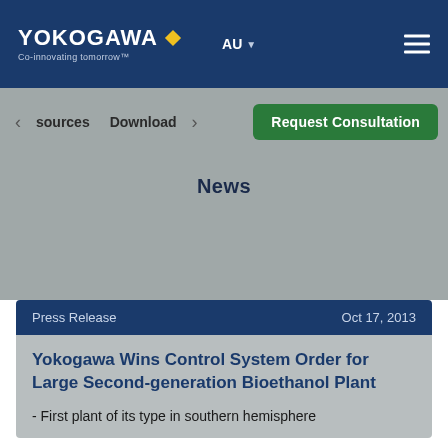YOKOGAWA Co-innovating tomorrow AU
sources  Download  Request Consultation
News
Press Release   Oct 17, 2013
Yokogawa Wins Control System Order for Large Second-generation Bioethanol Plant
- First plant of its type in southern hemisphere